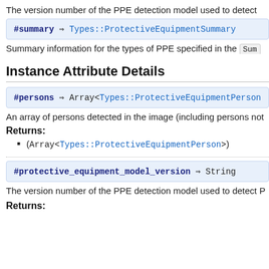The version number of the PPE detection model used to detect
#summary ⇒ Types::ProtectiveEquipmentSummary
Summary information for the types of PPE specified in the Sum
Instance Attribute Details
#persons ⇒ Array<Types::ProtectiveEquipmentPerson
An array of persons detected in the image (including persons not
Returns:
(Array<Types::ProtectiveEquipmentPerson>)
#protective_equipment_model_version ⇒ String
The version number of the PPE detection model used to detect P
Returns: